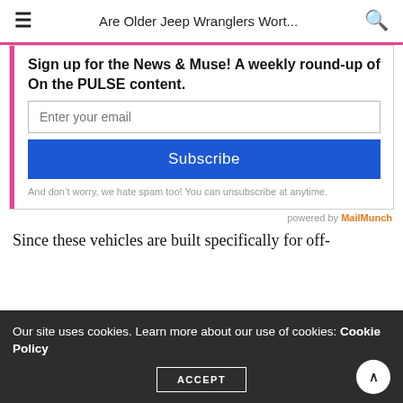Are Older Jeep Wranglers Wort...
Sign up for the News & Muse! A weekly round-up of On the PULSE content.
Enter your email
Subscribe
And don't worry, we hate spam too! You can unsubscribe at anytime.
powered by MailMunch
Since these vehicles are built specifically for off-
Our site uses cookies. Learn more about our use of cookies: Cookie Policy
ACCEPT